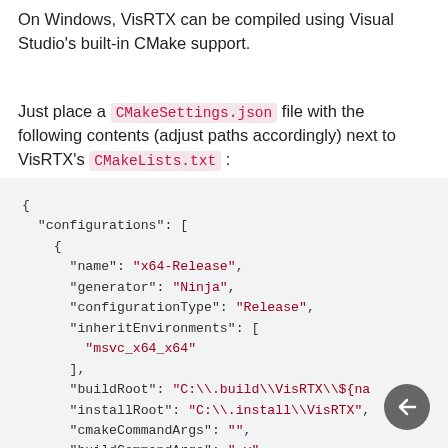On Windows, VisRTX can be compiled using Visual Studio's built-in CMake support.
Just place a CMakeSettings.json file with the following contents (adjust paths accordingly) next to VisRTX's CMakeLists.txt :
[Figure (screenshot): Code block showing a CMakeSettings.json file with configurations including name x64-Release, generator Ninja, configurationType Release, inheritEnvironments msvc_x64_x64, buildRoot, installRoot, cmakeCommandArgs, buildCommandArgs -v, ctestCommandArgs fields.]